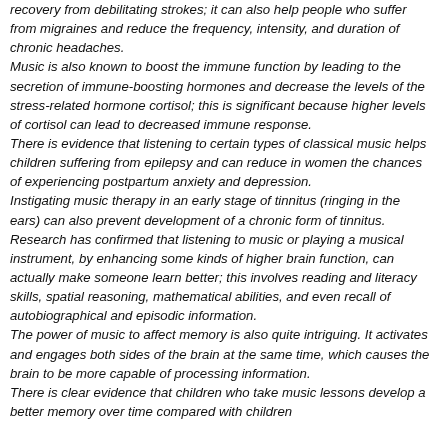recovery from debilitating strokes; it can also help people who suffer from migraines and reduce the frequency, intensity, and duration of chronic headaches.
Music is also known to boost the immune function by leading to the secretion of immune-boosting hormones and decrease the levels of the stress-related hormone cortisol; this is significant because higher levels of cortisol can lead to decreased immune response.
There is evidence that listening to certain types of classical music helps children suffering from epilepsy and can reduce in women the chances of experiencing postpartum anxiety and depression.
Instigating music therapy in an early stage of tinnitus (ringing in the ears) can also prevent development of a chronic form of tinnitus.
Research has confirmed that listening to music or playing a musical instrument, by enhancing some kinds of higher brain function, can actually make someone learn better; this involves reading and literacy skills, spatial reasoning, mathematical abilities, and even recall of autobiographical and episodic information.
The power of music to affect memory is also quite intriguing. It activates and engages both sides of the brain at the same time, which causes the brain to be more capable of processing information.
There is clear evidence that children who take music lessons develop a better memory over time compared with children